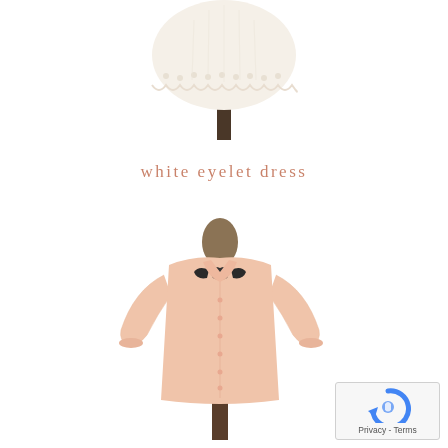[Figure (photo): Top portion of a white eyelet dress on a mannequin, cropped at the hem showing lace/eyelet detail, white fabric on a dark stand]
white eyelet dress
[Figure (photo): A light peach/blush long-sleeve button-down shirt dress on a mannequin with a dark navy/black bow tie at the collar]
[Figure (logo): reCAPTCHA logo with Privacy - Terms text below]